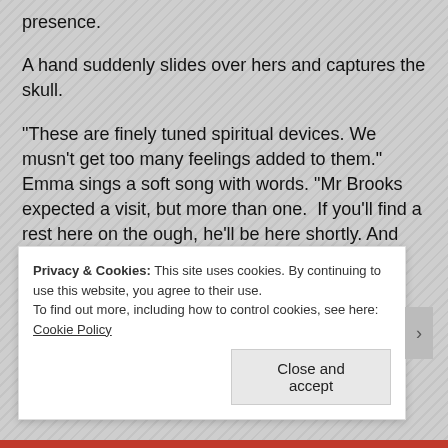presence.
A hand suddenly slides over hers and captures the skull.
“These are finely tuned spiritual devices. We musn’t get too many feelings added to them.”  Emma sings a soft song with words. “Mr Brooks expected a visit, but more than one.  If you’ll find a rest here on the ough, he’ll be here shortly. And whom is calling and the item we need to find please?”
The couple stands silent. It’s as if this woman suddenly
Privacy & Cookies: This site uses cookies. By continuing to use this website, you agree to their use.
To find out more, including how to control cookies, see here: Cookie Policy
Close and accept